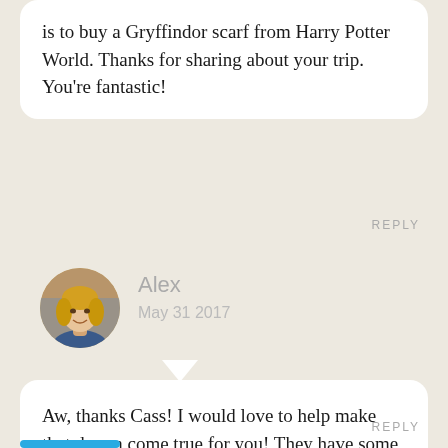is to buy a Gryffindor scarf from Harry Potter World. Thanks for sharing about your trip. You’re fantastic!
REPLY
[Figure (photo): Circular avatar photo of a smiling blonde woman named Alex]
Alex
May 31 2017
Aw, thanks Cass! I would love to help make that dream come true for you! They have some aaaaaahhhhhhmazing merch in the Wizarding World of Harry Potter!
REPLY